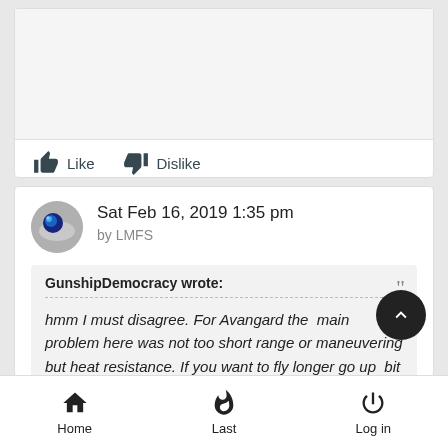Like   Dislike
Sat Feb 16, 2019 1:35 pm
by LMFS
GunshipDemocracy wrote:
hmm I must disagree. For Avangard the main problem here was not too short range or maneuvering but heat resistance. If you want to fly longer go up  bit and you got
Home   Last   Log in